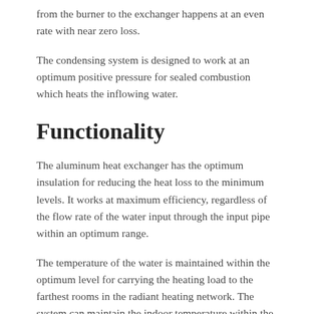from the burner to the exchanger happens at an even rate with near zero loss.
The condensing system is designed to work at an optimum positive pressure for sealed combustion which heats the inflowing water.
Functionality
The aluminum heat exchanger has the optimum insulation for reducing the heat loss to the minimum levels. It works at maximum efficiency, regardless of the flow rate of the water input through the input pipe within an optimum range.
The temperature of the water is maintained within the optimum level for carrying the heating load to the farthest rooms in the radiant heating network. The system can maintain the indoor temperature within the